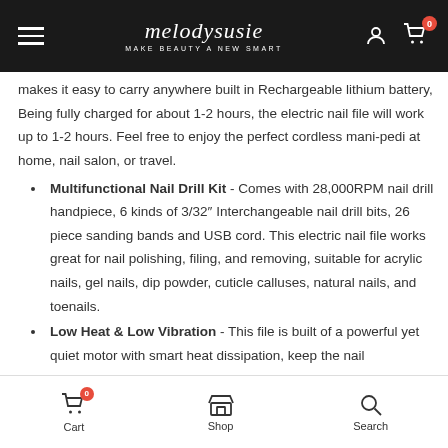melodysusie — MAKE BEAUTY A NEW SMART
makes it easy to carry anywhere built in Rechargeable lithium battery, Being fully charged for about 1-2 hours, the electric nail file will work up to 1-2 hours. Feel free to enjoy the perfect cordless mani-pedi at home, nail salon, or travel.
Multifunctional Nail Drill Kit - Comes with 28,000RPM nail drill handpiece, 6 kinds of 3/32″ Interchangeable nail drill bits, 26 piece sanding bands and USB cord. This electric nail file works great for nail polishing, filing, and removing, suitable for acrylic nails, gel nails, dip powder, cuticle calluses, natural nails, and toenails.
Low Heat & Low Vibration - This file is built of a powerful yet quiet motor with smart heat dissipation, keep the nail
Cart  Shop  Search